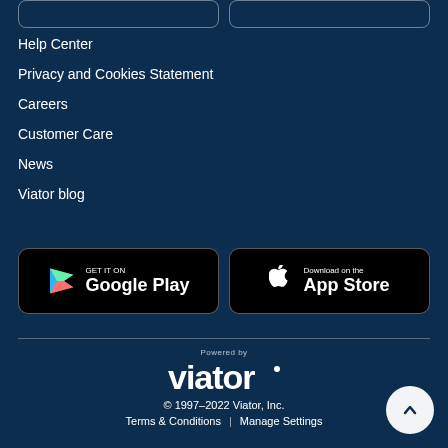[Figure (screenshot): Two app store buttons at top (partially cropped)]
Help Center
Privacy and Cookies Statement
Careers
Customer Care
News
Viator blog
[Figure (screenshot): Google Play store download button]
[Figure (screenshot): Apple App Store download button]
Powered by
[Figure (logo): Viator logo]
© 1997-2022 Viator, Inc.
Terms & Conditions | Manage Settings